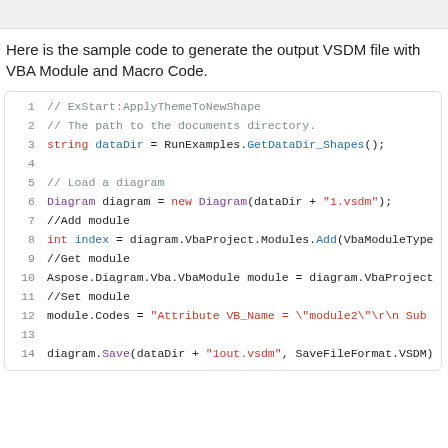Here is the sample code to generate the output VSDM file with VBA Module and Macro Code.
[Figure (screenshot): Code block showing C# sample code with line numbers 1-14, demonstrating how to generate a VSDM file with VBA Module and Macro Code using Aspose.Diagram library.]